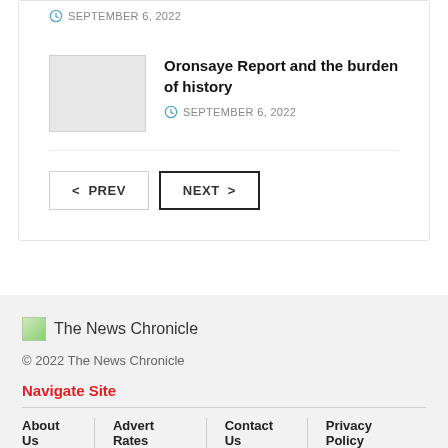SEPTEMBER 6, 2022
Oronsaye Report and the burden of history
SEPTEMBER 6, 2022
PREV  NEXT
[Figure (logo): The News Chronicle logo]
© 2022 The News Chronicle
Navigate Site
About Us  |  Advert Rates  |  Contact Us  |  Privacy Policy